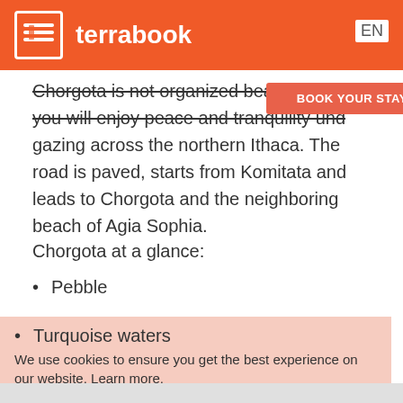terrabook  EN
Chorgota is not organized beach, but here you will enjoy peace and tranquility und... gazing across the northern Ithaca. The road is paved, starts from Komitata and leads to Chorgota and the neighboring beach of Agia Sophia.
BOOK YOUR STAY IN KEFAL...
Chorgota at a glance:
Pebble
Turquoise waters
Natural shade from trees
Access by car
We use cookies to ensure you get the best experience on our website. Learn more.
GOT IT!
SHOW MAP